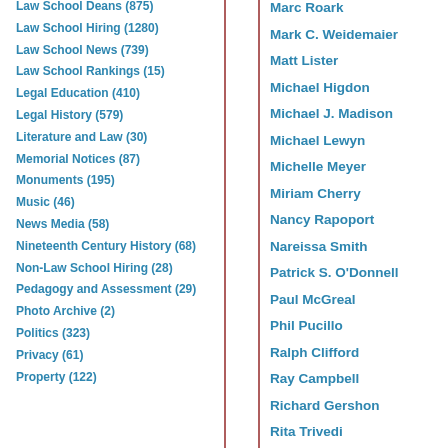Law School Deans (875)
Law School Hiring (1280)
Law School News (739)
Law School Rankings (15)
Legal Education (410)
Legal History (579)
Literature and Law (30)
Memorial Notices (87)
Monuments (195)
Music (46)
News Media (58)
Nineteenth Century History (68)
Non-Law School Hiring (28)
Pedagogy and Assessment (29)
Photo Archive (2)
Politics (323)
Privacy (61)
Property (122)
Marc Roark
Mark C. Weidemaier
Matt Lister
Michael Higdon
Michael J. Madison
Michael Lewyn
Michelle Meyer
Miriam Cherry
Nancy Rapoport
Nareissa Smith
Patrick S. O'Donnell
Paul McGreal
Phil Pucillo
Ralph Clifford
Ray Campbell
Richard Gershon
Rita Trivedi
Robert Heverly